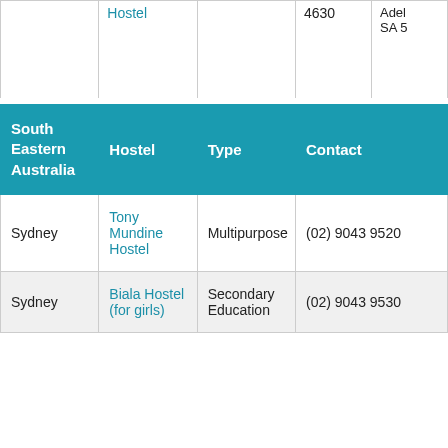|  | Hostel |  | 4630 | Adel... SA 5... |
| --- | --- | --- | --- | --- |
|  | Hostel |  | 4630 | Adel SA 5 |
| South Eastern Australia | Hostel | Type | Contact |
| --- | --- | --- | --- |
| Sydney | Tony Mundine Hostel | Multipurpose | (02) 9043 9520 |
| Sydney | Biala Hostel (for girls) | Secondary Education | (02) 9043 9530 |